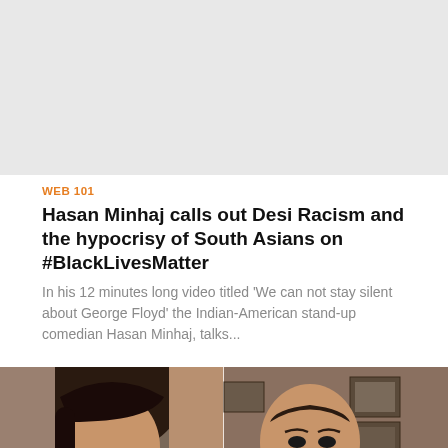[Figure (photo): Gray placeholder image area at top of page]
WEB 101
Hasan Minhaj calls out Desi Racism and the hypocrisy of South Asians on #BlackLivesMatter
In his 12 minutes long video titled 'We can not stay silent about George Floyd' the Indian-American stand-up comedian Hasan Minhaj, talks...
[Figure (photo): Split screen image showing a woman with dark hair on the left and a police officer in uniform on the right]
HUMAN RIGHTS
WATCH: After Trump tells Governors to 'dominate'